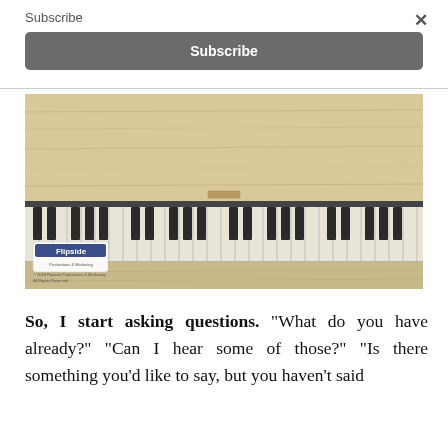Subscribe
×
Subscribe
[Figure (photo): Close-up photo of an old weathered upright piano keyboard with worn black and white keys, viewed from above. A Flipside Productions & Marketing logo/watermark is visible in the lower left, along with copyright text: © 2018 Flipside Productions & Marketing, All Rights Reserved.]
So, I start asking questions. "What do you have already?" "Can I hear some of those?" "Is there something you'd like to say, but you haven't said